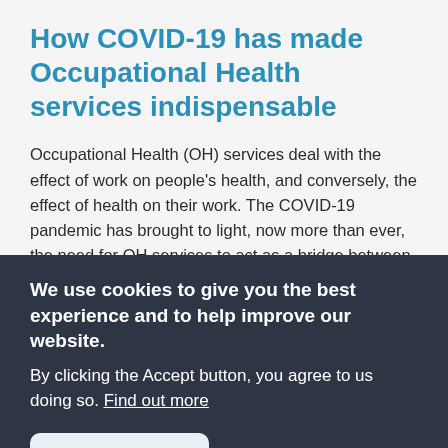How COVID-19 has made Occupational Health services indispensable
Occupational Health (OH) services deal with the effect of work on people's health, and conversely, the effect of health on their work. The COVID-19 pandemic has brought to light, now more than ever, the need for OH services to act as a bridge between
We use cookies to give you the best experience and to help improve our website.
By clicking the Accept button, you agree to us doing so. Find out more
OK, I agree